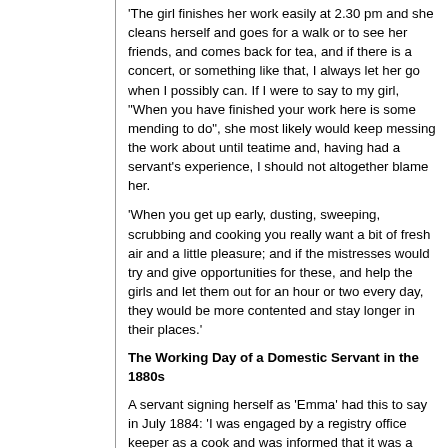'The girl finishes her work easily at 2.30 pm and she cleans herself and goes for a walk or to see her friends, and comes back for tea, and if there is a concert, or something like that, I always let her go when I possibly can. If I were to say to my girl, "When you have finished your work here is some mending to do", she most likely would keep messing the work about until teatime and, having had a servant's experience, I should not altogether blame her.
'When you get up early, dusting, sweeping, scrubbing and cooking you really want a bit of fresh air and a little pleasure; and if the mistresses would try and give opportunities for these, and help the girls and let them out for an hour or two every day, they would be more contented and stay longer in their places.'
The Working Day of a Domestic Servant in the 1880s
A servant signing herself as 'Emma' had this to say in July 1884: 'I was engaged by a registry office keeper as a cook and was informed that it was a nice easy place, with only four in the family and nothing to do but cooking. This is what I had to do. 'Get up at half-past 5 in the morning, sweep the verandah, scrub the passage and bathroom, clean and